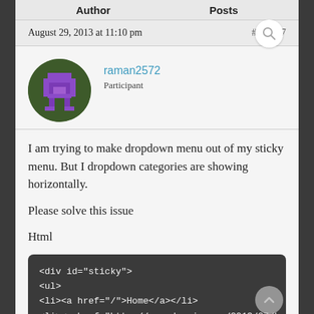Author   Posts
August 29, 2013 at 11:10 pm   #148547
[Figure (illustration): Pixel art avatar of a purple character on dark green circular background]
raman2572
Participant
I am trying to make dropdown menu out of my sticky menu. But I dropdown categories are showing horizontally.

Please solve this issue

Html
<div id="sticky">
<ul>
<li><a href="/">Home</a></li>
<li><a href="http://www.domain.com/2013/07/be
   <ul>